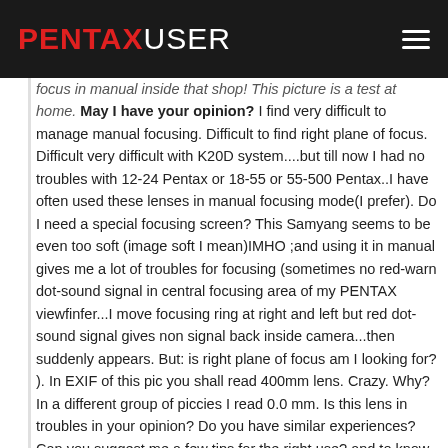PENTAXUSER
focus in manual inside that shop! This picture is a test at home. May I have your opinion? I find very difficult to manage manual focusing. Difficult to find right plane of focus. Difficult very difficult with K20D system....but till now I had no troubles with 12-24 Pentax or 18-55 or 55-500 Pentax..I have often used these lenses in manual focusing mode(I prefer). Do I need a special focusing screen? This Samyang seems to be even too soft (image soft I mean)IMHO ;and using it in manual gives me a lot of troubles for focusing (sometimes no red-warn dot-sound signal in central focusing area of my PENTAX viewfinfer...I move focusing ring at right and left but red dot-sound signal gives non signal back inside camera...then suddenly appears. But: is right plane of focus am I looking for? ). In EXIF of this pic you shall read 400mm lens. Crazy. Why? In a different group of piccies I read 0.0 mm. Is this lens in troubles in your opinion? Do you have similar experiences? Can you suggest me a few tips for the right use? and to know if it is really "damaged"? Thank you. PS A few techn tests explain